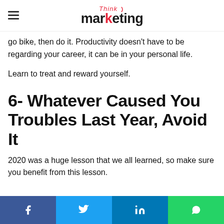Think marketing
go bike, then do it. Productivity doesn't have to be regarding your career, it can be in your personal life.
Learn to treat and reward yourself.
6- Whatever Caused You Troubles Last Year, Avoid It
2020 was a huge lesson that we all learned, so make sure you benefit from this lesson.
Share buttons: Facebook, Twitter, LinkedIn, WhatsApp